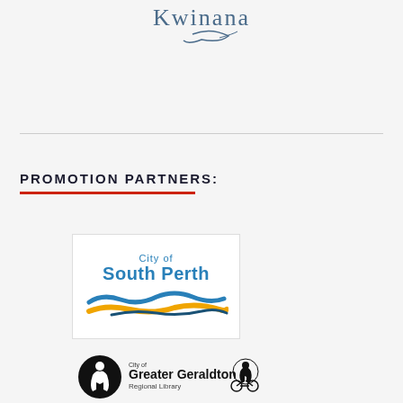[Figure (logo): Kwinana text logo with decorative swirl/flourish underneath]
[Figure (logo): City of South Perth logo with stylized wave graphic in blue and gold]
PROMOTION PARTNERS:
[Figure (logo): Greater Geraldton Regional Library logo with circular black emblem and figure icon]
[Figure (logo): Second logo partially visible at bottom right]